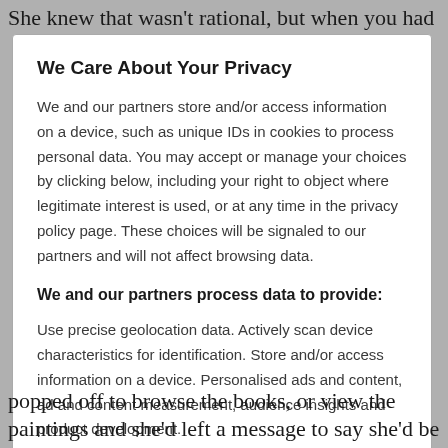She knew that wasn't rational, but when you had
We Care About Your Privacy
We and our partners store and/or access information on a device, such as unique IDs in cookies to process personal data. You may accept or manage your choices by clicking below, including your right to object where legitimate interest is used, or at any time in the privacy policy page. These choices will be signaled to our partners and will not affect browsing data.
We and our partners process data to provide:
Use precise geolocation data. Actively scan device characteristics for identification. Store and/or access information on a device. Personalised ads and content, ad and content measurement, audience insights and product development.
popped off to browse the books, or view the paintings and she'd left a message to say she'd be